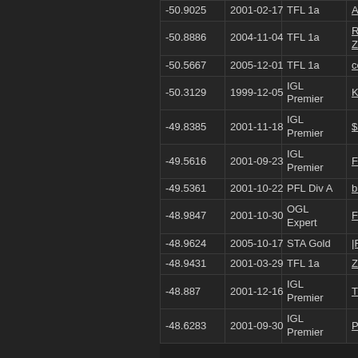| Score | Date | League | Team |
| --- | --- | --- | --- |
| -50.9025 | 2001-02-17 | TFL 1a | A~ - Adrenaline |
| -50.8886 | 2004-11-04 | TFL 1a | RzP - Radioactive Zombie Posse |
| -50.5667 | 2005-12-01 | TFL 1a | ce - Crayon Eaters |
| -50.3129 | 1999-12-05 | IGL Premier | KiN - Kindred |
| -49.8385 | 2001-11-18 | IGL Premier | $s - Money Shot |
| -49.5616 | 2001-09-23 | IGL Premier | FL - Forsaken Legion |
| -49.5361 | 2001-10-22 | PFL Div A | bP - Black Plague |
| -48.9847 | 2001-10-30 | OGL Expert | FL - Forsaken Legion |
| -48.9624 | 2005-10-17 | STA Gold | |RES| - Resurrection |
| -48.9431 | 2001-03-29 | TFL 1a | Zt. - Zero Tolerance |
| -48.887 | 2001-12-16 | IGL Premier | TDA - Tap Dat Ass |
| -48.6283 | 2001-09-30 | IGL Premier | PF - Pyroclastic Flow |